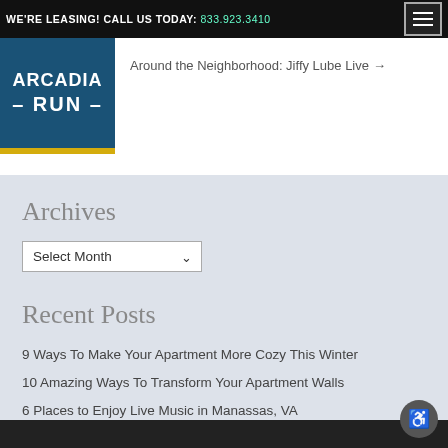WE'RE LEASING! CALL US TODAY: 833.923.3410
[Figure (logo): Arcadia Run apartment logo — blue background with white text reading ARCADIA RUN, yellow bar below]
Around the Neighborhood: Jiffy Lube Live →
Archives
Select Month
Recent Posts
9 Ways To Make Your Apartment More Cozy This Winter
10 Amazing Ways To Transform Your Apartment Walls
6 Places to Enjoy Live Music in Manassas, VA
10 Inexpensive Ways to Decorate Your Apartment
Top 5 Reasons to Visit the City of Manassas Farmer's Market